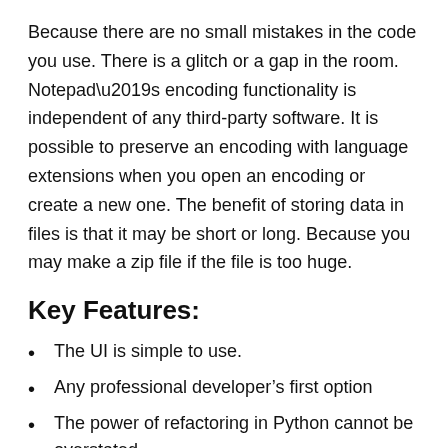Because there are no small mistakes in the code you use. There is a glitch or a gap in the room. Notepad’s encoding functionality is independent of any third-party software. It is possible to preserve an encoding with language extensions when you open an encoding or create a new one. The benefit of storing data in files is that it may be short or long. Because you may make a zip file if the file is too huge.
Key Features:
The UI is simple to use.
Any professional developer’s first option
The power of refactoring in Python cannot be overstated.
Troubleshooting options that make good the design